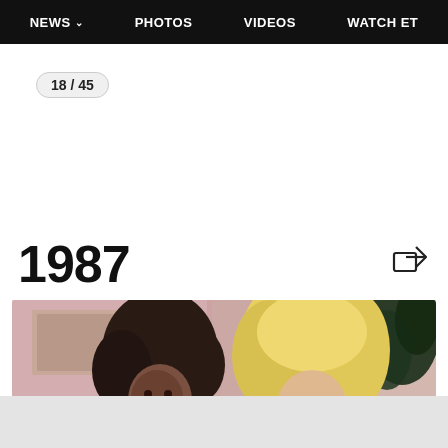NEWS  PHOTOS  VIDEOS  WATCH ET
18 / 45
1987
[Figure (photo): Two women posing together and smiling, one with dark curly hair and one with large blonde hair, in what appears to be a TV show set with pink curtains and a plant in the background, 1987.]